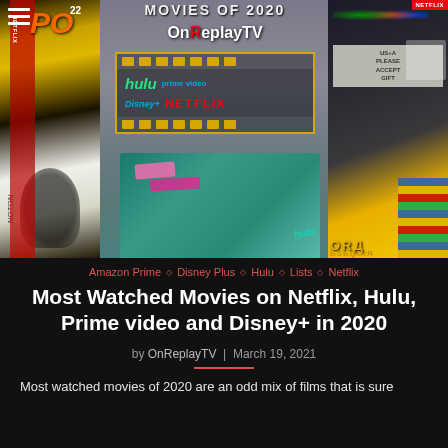[Figure (photo): Collage hero image showing movie posters and streaming service logos for Netflix, Hulu, Prime Video, and Disney+, with OnReplayTV branding and a film strip graphic in the center. Includes partial movie posters including Borat on the right side and colorful teal items at bottom.]
Amazon Prime ◇ Disney Plus ◇ Hulu ◇ Lists ◇ Netflix
Most Watched Movies on Netflix, Hulu, Prime video and Disney+ in 2020
by OnReplayTV | March 19, 2021
Most watched movies of 2020 are an odd mix of films that is sure